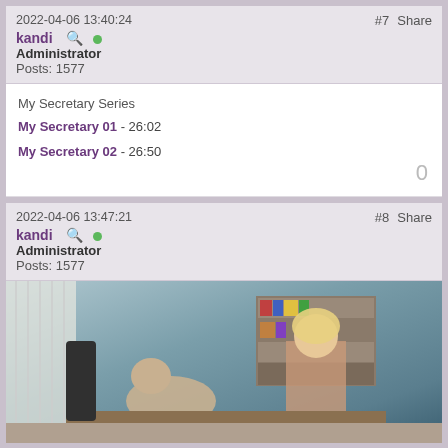2022-04-06 13:40:24 | #7 Share | kandi | Administrator | Posts: 1577
My Secretary Series
My Secretary 01 - 26:02
My Secretary 02 - 26:50
2022-04-06 13:47:21 | #8 Share | kandi | Administrator | Posts: 1577
[Figure (photo): Office scene photo showing a blonde woman and a man in an office setting with bookshelves in the background]